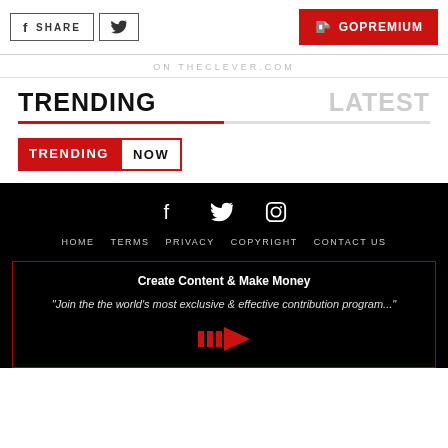f SHARE | [twitter icon] | [GOPREMIUM logo]
ON THECLEVER.COM
TRENDING   LATEST
[Figure (logo): TRENDING NOW badge with red background for TRENDING and outlined box for NOW]
f [twitter] [instagram] | HOME  TERMS  PRIVACY  COPYRIGHT  CONTACT US | Create Content & Make Money | "Join the the world's most exclusive & effective contribution program..."